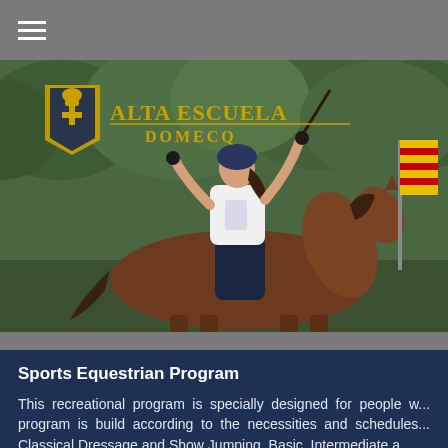≡
[Figure (photo): A young woman wearing a riding helmet and white sleeveless top sits on a brown horse with her arms raised, holding a crop. She is surrounded by green trees. An Alta Escuela Domecq logo with a crest and golden text appears in the upper left of the image. A flag is visible in the background.]
Sports Equestrian Program
This recreational program is specially designed for people w... program is build according to the necessities and schedules... Classical Dressage and Show Jumping. Basic, Intermediate a...